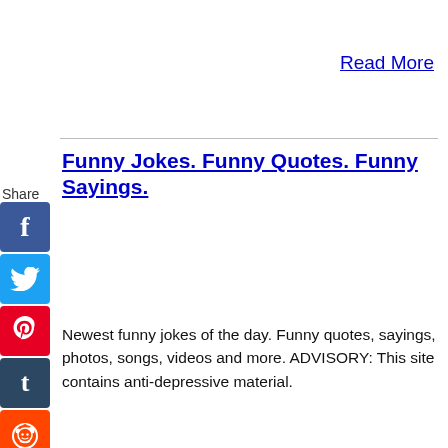Read More
Funny Jokes. Funny Quotes. Funny Sayings.
Newest funny jokes of the day. Funny quotes, sayings, photos, songs, videos and more. ADVISORY: This site contains anti-depressive material.
Read More
MilkSnort! Funny Party Game For Hilarious Party Fun
MilkSnort! The Funny Party Game is the EASIEST way to have a hilarious party. It's the one joke game where EVERYBODY gets to be a comedian!